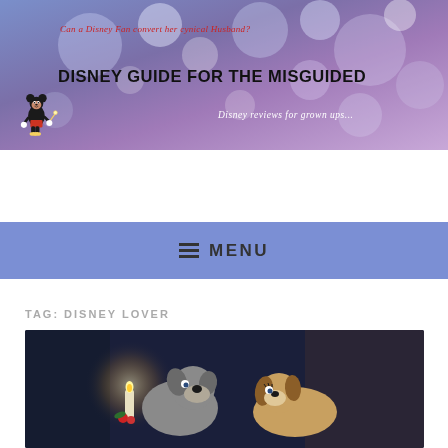[Figure (screenshot): Disney Guide for the Misguided website header banner with bokeh bokeh lights background, purple-blue gradient, Mickey Mouse illustration, main title, taglines]
DISNEY GUIDE FOR THE MISGUIDED
Can a Disney Fan convert her cynical Husband?
Disney reviews for grown ups...
≡ MENU
TAG: DISNEY LOVER
[Figure (photo): Animated scene from Lady and the Tramp showing two dogs (Tramp and Lady) near a candle, dark background]